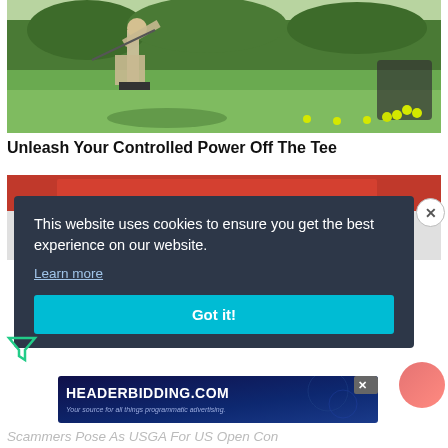[Figure (photo): A golfer on a driving range or golf course, mid-swing, wearing light-colored trousers. Green grass and trees in background. Yellow golf balls and a ball basket visible to the right.]
Unleash Your Controlled Power Off The Tee
[Figure (photo): Partially visible second article image with a red banner/background, obscured by cookie consent overlay.]
This website uses cookies to ensure you get the best experience on our website.
Learn more
Got it!
[Figure (other): Advertisement banner for HEADERBIDDING.COM — 'Your source for all things programmatic advertising.']
Scammers Pose As USGA For US Open Con